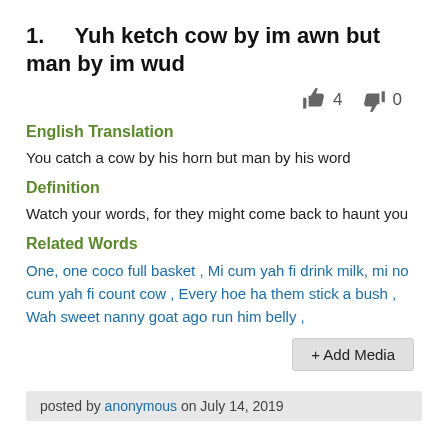1.    Yuh ketch cow by im awn but man by im wud
👍 4   👎 0
English Translation
You catch a cow by his horn but man by his word
Definition
Watch your words, for they might come back to haunt you
Related Words
One, one coco full basket , Mi cum yah fi drink milk, mi no cum yah fi count cow , Every hoe ha them stick a bush , Wah sweet nanny goat ago run him belly ,
+ Add Media
posted by anonymous on July 14, 2019